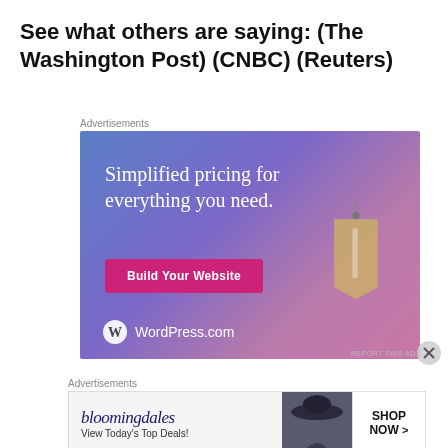See what others are saying: (The Washington Post) (CNBC) (Reuters)
[Figure (illustration): WordPress.com advertisement banner with gradient blue-purple background, text 'Simplified pricing for everything you need.', a pink 'Build Your Website' button, a tan price tag graphic, and WordPress.com logo at bottom left.]
[Figure (illustration): Bloomingdale's advertisement banner with logo text, 'View Today's Top Deals!' text, a model wearing a hat, and 'SHOP NOW >' button on right side.]